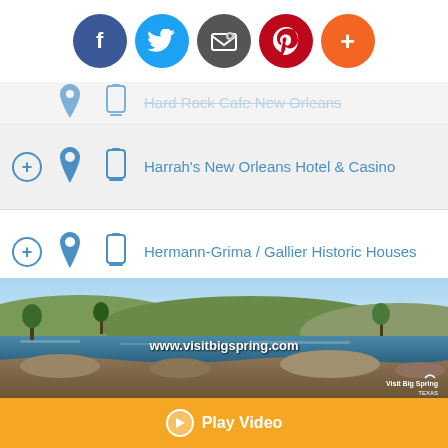[Figure (screenshot): Social media sharing icons row: Facebook, Twitter, Email/share, Pinterest, Plus/more buttons]
Hard Rock Cafe New Orleans (partial, top)
Harrah's New Orleans Hotel & Casino
Hermann-Grima / Gallier Historic Houses
Historic New Orleans Cemetery Tours
House of Blues - New Orleans
Jackson Square (partial, bottom)
[Figure (photo): Panoramic landscape photo of Big Spring Texas with water, trees, rocks, sky]
www.visitbigspring.com
Play Video